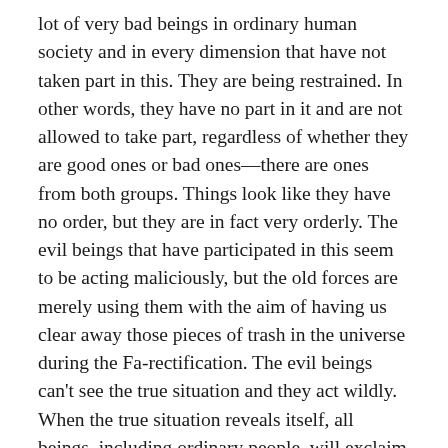lot of very bad beings in ordinary human society and in every dimension that have not taken part in this. They are being restrained. In other words, they have no part in it and are not allowed to take part, regardless of whether they are good ones or bad ones—there are ones from both groups. Things look like they have no order, but they are in fact very orderly. The evil beings that have participated in this seem to be acting maliciously, but the old forces are merely using them with the aim of having us clear away those pieces of trash in the universe during the Fa-rectification. The evil beings can't see the true situation and they act wildly. When the true situation reveals itself, all beings, including ordinary people, will exclaim with astonishment: “Wow! So that’s what was happening!”
Of course, things in this setting are different from a